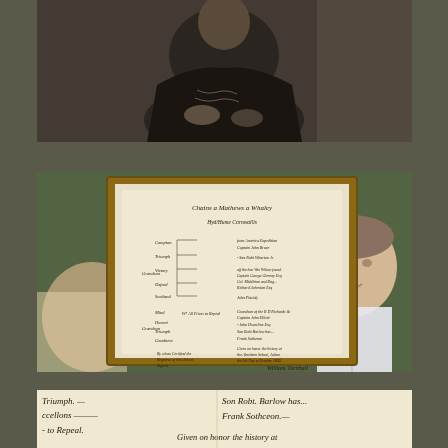[Figure (photo): Black and white historical portrait photograph of a person seated, partially cropped, showing clothing with decorative elements]
[Figure (photo): Framed historical handwritten document resembling a genealogy or family record chart with cursive text, surrounded by two people (a young woman on left and a young man on right) viewing it]
[Figure (photo): Close-up detail of the historical handwritten document showing cursive script text including partial words such as 'triumph', 'excellons', 'to Repeal', 'Given on honor the history at', and signatures including 'Son Robt Barlow han' and 'Frank Jothceon']